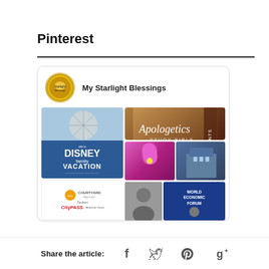Pinterest
[Figure (screenshot): Pinterest widget card showing 'My Starlight Blessings' profile with a circular logo avatar and a grid of pinned images including a Disney family vacation contest, Apologetics Study Bible for Students book cover, flowers, buildings, and people at World Economic Forum.]
Share the article: